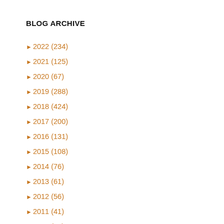BLOG ARCHIVE
► 2022 (234)
► 2021 (125)
► 2020 (67)
► 2019 (288)
► 2018 (424)
► 2017 (200)
► 2016 (131)
► 2015 (108)
► 2014 (76)
► 2013 (61)
► 2012 (56)
► 2011 (41)
► 2010 (14)